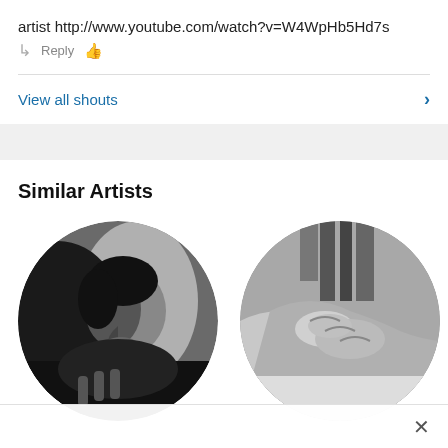artist http://www.youtube.com/watch?v=W4WpHb5Hd7s
Reply (thumbs up icon)
View all shouts
Similar Artists
[Figure (photo): Three circular artist profile images in a row. First: black and white photo of a person in profile looking left, dark shadows. Second: black and white photo of hands clasped/crossed. Third: partially visible circular image with warm reddish/orange tones, cropped at page edge.]
×